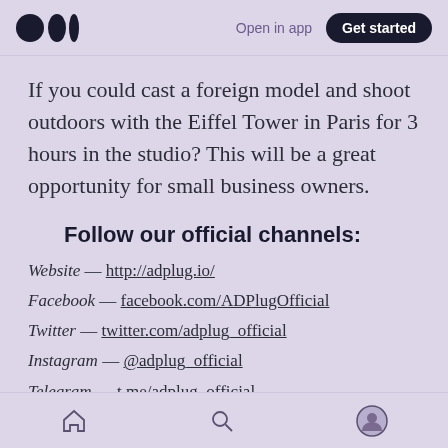Open in app | Get started
If you could cast a foreign model and shoot outdoors with the Eiffel Tower in Paris for 3 hours in the studio? This will be a great opportunity for small business owners.
Follow our official channels:
Website — http://adplug.io/
Facebook — facebook.com/ADPlugOfficial
Twitter — twitter.com/adplug_official
Instagram — @adplug_official
Telegram — t.me/adplug_official
home | search | profile